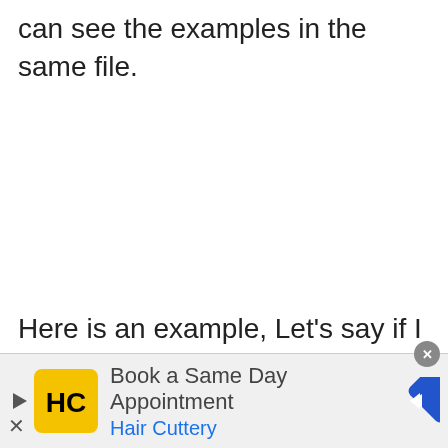can see the examples in the same file.
Here is an example, Let's say if I need to
[Figure (other): Advertisement banner for Hair Cuttery: 'Book a Same Day Appointment' with HC logo and navigation arrow icon]